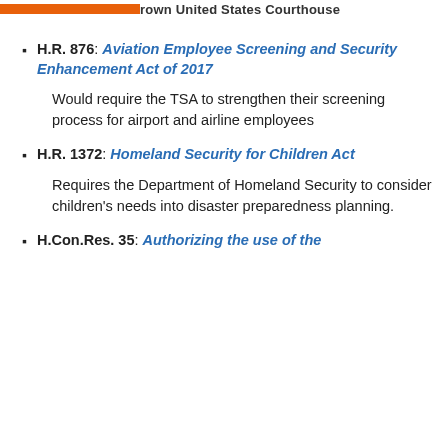Town United States Courthouse
H.R. 876: Aviation Employee Screening and Security Enhancement Act of 2017
Would require the TSA to strengthen their screening process for airport and airline employees
H.R. 1372: Homeland Security for Children Act
Requires the Department of Homeland Security to consider children's needs into disaster preparedness planning.
H.Con.Res. 35: Authorizing the use of the